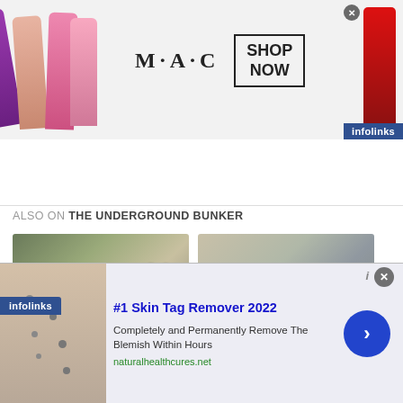[Figure (screenshot): MAC Cosmetics advertisement banner with lipsticks on left, MAC logo and SHOP NOW box in center, red lipstick on right, infolinks badge at bottom right]
ALSO ON THE UNDERGROUND BUNKER
[Figure (photo): Two thumbnail images side by side showing people wearing caps, part of 'Also On The Underground Bunker' section]
[Figure (screenshot): Bottom ad popup: #1 Skin Tag Remover 2022 - Completely and Permanently Remove The Blemish Within Hours - naturalhealthcures.net - with skin image on left and blue arrow button on right, infolinks badge on left side]